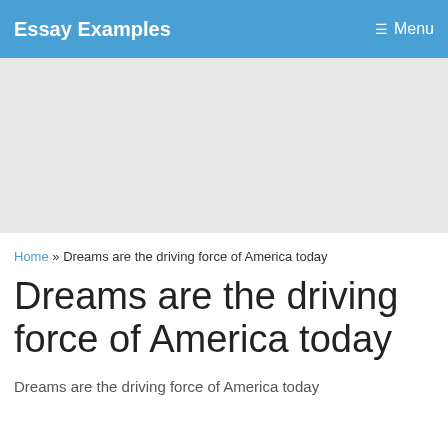Essay Examples    Menu
[Figure (other): Gray advertisement placeholder area]
Home » Dreams are the driving force of America today
Dreams are the driving force of America today
Dreams are the driving force of America today